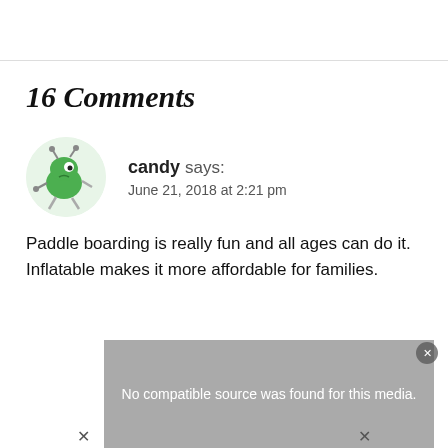16 Comments
candy says:
June 21, 2018 at 2:21 pm
Paddle boarding is really fun and all ages can do it. Inflatable makes it more affordable for families.
[Figure (screenshot): Media player overlay showing 'No compatible source was found for this media.' with a close button and an X mark]